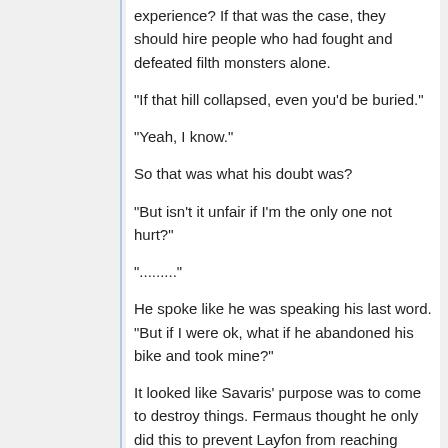experience? If that was the case, they should hire people who had fought and defeated filth monsters alone.
"If that hill collapsed, even you'd be buried."
"Yeah, I know."
So that was what his doubt was?
"But isn't it unfair if I'm the only one not hurt?"
".........."
He spoke like he was speaking his last word. "But if I were ok, what if he abandoned his bike and took mine?"
It looked like Savaris' purpose was to come to destroy things. Fermaus thought he only did this to prevent Layfon from reaching Zuellni ahead of him, even at the cost of his life.